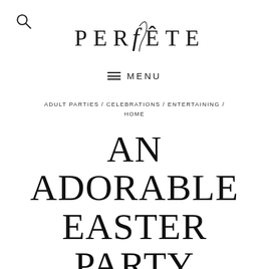[Figure (logo): PERFÊTE brand logo with stylized script f, all caps serif lettering]
≡ MENU
ADULT PARTIES / CELEBRATIONS / ENTERTAINING / HOME
AN ADORABLE EASTER PARTY EVERY BUNNY WOULD LOVE